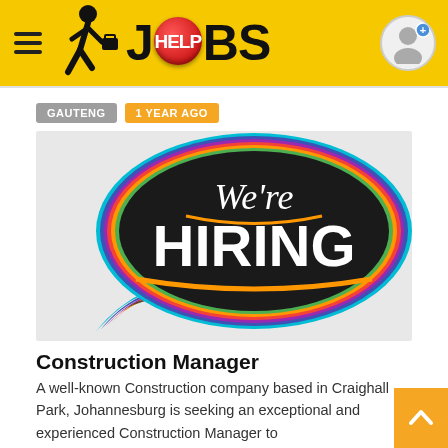HELP JOBS
GAUTENG   1 YEAR AGO
[Figure (illustration): Colorful speech bubble with 'We're HIRING' text on dark background with multicolor outline stripes]
Construction Manager
A well-known Construction company based in Craighall Park, Johannesburg is seeking an exceptional and experienced Construction Manager to